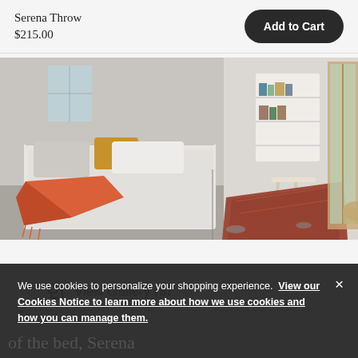Serena Throw
$215.00
Add to Cart
[Figure (photo): Bedroom scene with a gray bed featuring an orange/red throw blanket draped over it, a patterned red rug on the floor, bookshelves on the wall, and a sliding glass door to the right]
View Gallery (5)
We use cookies to personalize your shopping experience. View our Cookies Notice to learn more about how we use cookies and how you can manage them.